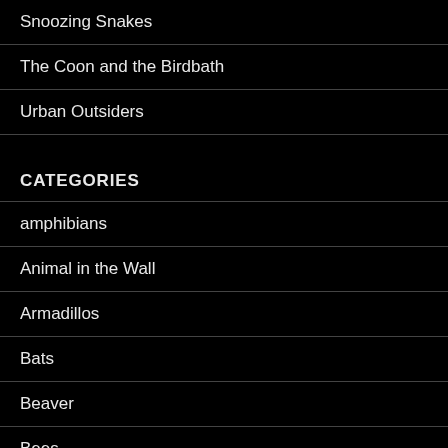Snoozing Snakes
The Coon and the Birdbath
Urban Outsiders
CATEGORIES
amphibians
Animal in the Wall
Armadillos
Bats
Beaver
Bees
Birds